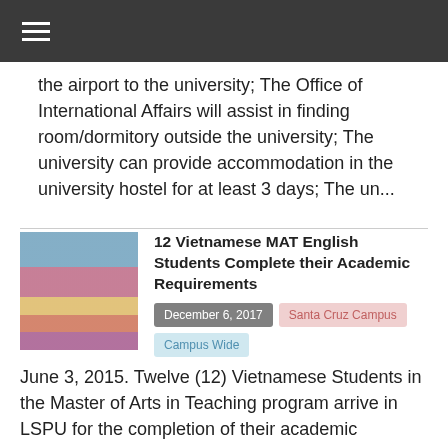the airport to the university; The Office of International Affairs will assist in finding room/dormitory outside the university; The university can provide accommodation in the university hostel for at least 3 days; The un...
[Figure (photo): Group photo of Vietnamese students in formal/traditional attire]
12 Vietnamese MAT English Students Complete their Academic Requirements
December 6, 2017
Santa Cruz Campus
Campus Wide
June 3, 2015. Twelve (12) Vietnamese Students in the Master of Arts in Teaching program arrive in LSPU for the completion of their academic requirements as candidates for graduation in 2016. In Santa Cruz Campus, they conducted the final